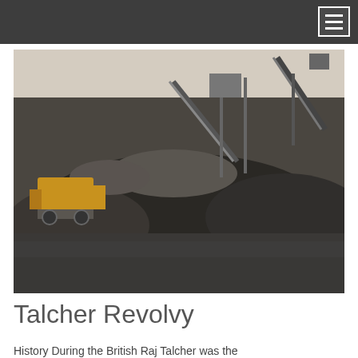[Figure (photo): Industrial coal/mineral processing site showing a front-end loader and conveyor belts with large piles of coal or crushed stone in a dusty open area]
Talcher Revolvy
History During the British Raj Talcher was the